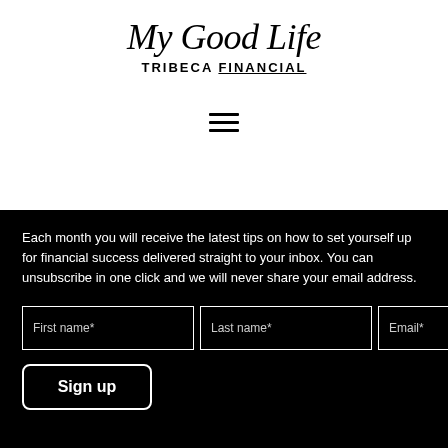[Figure (logo): My Good Life Tribeca Financial logo with script handwritten text 'My Good Life' above bold sans-serif text 'TRIBECA FINANCIAL']
[Figure (other): Hamburger menu icon with three horizontal lines]
Each month you will receive the latest tips on how to set yourself up for financial success delivered straight to your inbox. You can unsubscribe in one click and we will never share your email address.
[Figure (other): Sign-up form with three input fields: First name*, Last name*, Email*, and a Sign up button]